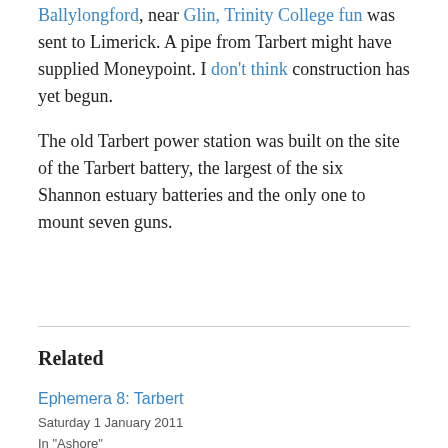Ballylongford, near Glin, Trinity College fun was sent to Limerick. A pipe from Tarbert might have supplied Moneypoint. I don't think construction has yet begun.
The old Tarbert power station was built on the site of the Tarbert battery, the largest of the six Shannon estuary batteries and the only one to mount seven guns.
Related
Ephemera 8: Tarbert
Saturday 1 January 2011
In "Ashore"
Waterways power stations
Sunday 4 March 2012
In "Ashore"